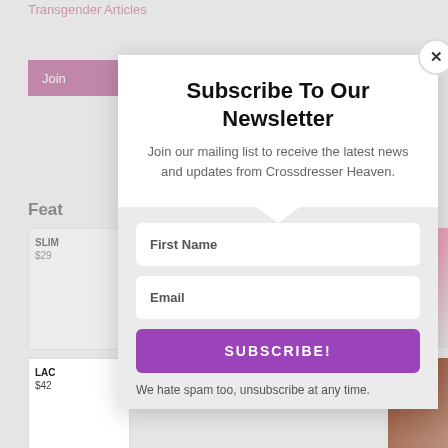Transgender Articles
Join
Feat
SLIM
$29
LAC
$42
HM
$94
Subscribe To Our Newsletter
Join our mailing list to receive the latest news and updates from Crossdresser Heaven.
First Name
Email
SUBSCRIBE!
We hate spam too, unsubscribe at any time.